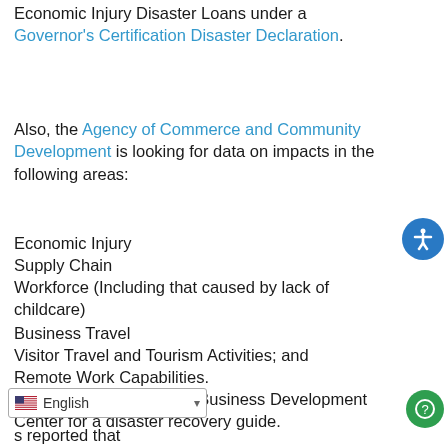Economic Injury Disaster Loans under a Governor's Certification Disaster Declaration.
Also, the Agency of Commerce and Community Development is looking for data on impacts in the following areas:
Economic Injury
Supply Chain
Workforce (Including that caused by lack of childcare)
Business Travel
Visitor Travel and Tourism Activities; and
Remote Work Capabilities.
Contact a Vermont State Business Development Center for a disaster recovery guide.
s reported that